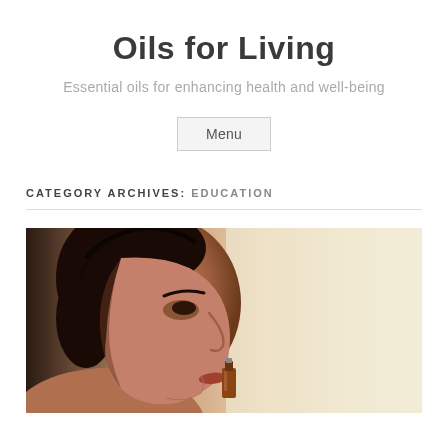Oils for Living
Essential oils for enhancing health and well-being
Menu
CATEGORY ARCHIVES: EDUCATION
[Figure (photo): Close-up profile of a person smelling a small amber essential oil bottle]